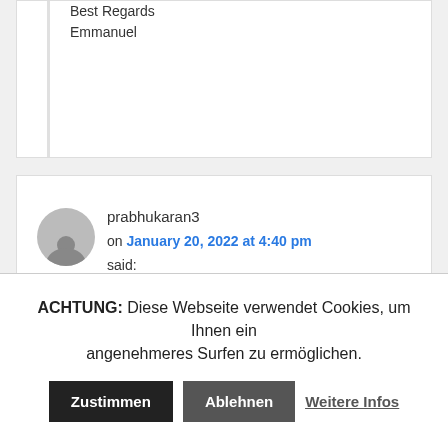Best Regards
Emmanuel
prabhukaran3
on January 20, 2022 at 4:40 pm
said:
Hello Achim Doble!
I need display driver support for 3.2" TFT
display with inbuilt ILI9341 driver. It is 16
ACHTUNG: Diese Webseite verwendet Cookies, um Ihnen ein angenehmeres Surfen zu ermöglichen.
Zustimmen
Ablehnen
Weitere Infos